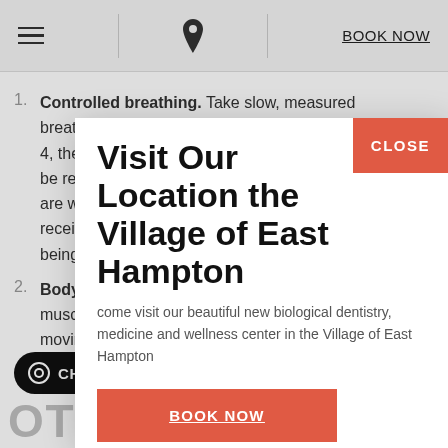≡  [location icon]  BOOK NOW
1. Controlled breathing. Take slow, measured breaths. For example, inhale as you slowly count to 4, then exh[ale]... be repeated... are waiting... receive an[esthesia]... being proc[essed]...
2. Body scar[...] muscles, be[...] moving dow[n]... [y]ou[r]...
OTHER DENTAL ANXIETY
Visit Our Location the Village of East Hampton
come visit our beautiful new biological dentistry, medicine and wellness center in the Village of East Hampton
BOOK NOW
CHAT